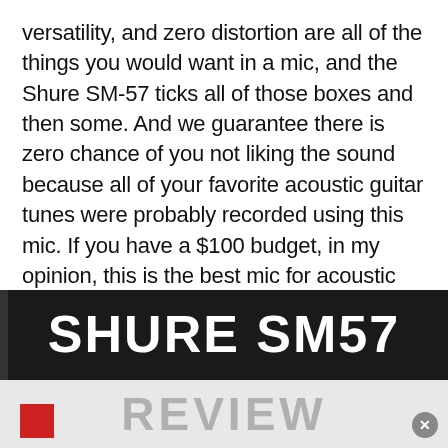versatility, and zero distortion are all of the things you would want in a mic, and the Shure SM-57 ticks all of those boxes and then some. And we guarantee there is zero chance of you not liking the sound because all of your favorite acoustic guitar tunes were probably recorded using this mic. If you have a $100 budget, in my opinion, this is the best mic for acoustic guitars under $100 out there.
[Figure (screenshot): Dark banner image showing bold white text 'SHURE SM57' on a dark background, with 'REVIEW' in large grey letters on a lighter grey band below. A small red square icon is visible at lower left and an X close button at lower right.]